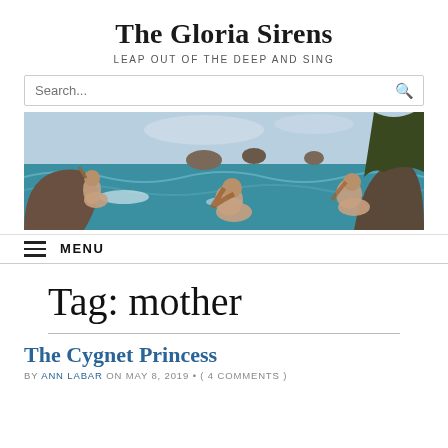The Gloria Sirens
LEAP OUT OF THE DEEP AND SING
[Figure (screenshot): Search bar with placeholder text 'Search...' and a magnifying glass icon on the right]
[Figure (illustration): Painting of three sirens/mermaids by the sea, rocas and ocean in the background, in a classical oil painting style]
≡ MENU
Tag: mother
The Cygnet Princess
BY ANN LABAR ON MAY 8, 2019 • ( 4 COMMENTS )